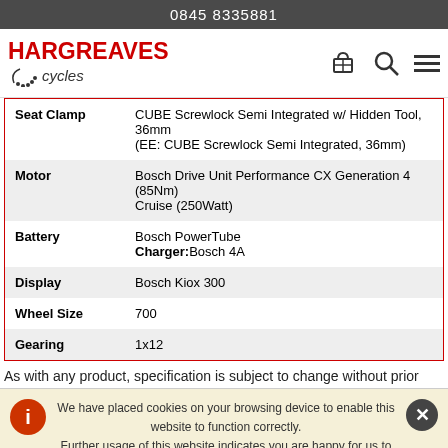0845 8335881
[Figure (logo): Hargreaves Cycles logo with red bold text HARGREAVES and italic cycles text with decorative dots, plus basket, search, and hamburger menu icons]
|  |  |
| --- | --- |
| Seat Clamp | CUBE Screwlock Semi Integrated w/ Hidden Tool, 36mm (EE: CUBE Screwlock Semi Integrated, 36mm) |
| Motor | Bosch Drive Unit Performance CX Generation 4 (85Nm) Cruise (250Watt) |
| Battery | Bosch PowerTube
Charger:Bosch 4A |
| Display | Bosch Kiox 300 |
| Wheel Size | 700 |
| Gearing | 1x12 |
As with any product, specification is subject to change without prior
We have placed cookies on your browsing device to enable this website to function correctly.
Further usage of this website indicates you are happy for us to do this.
Find out about the cookies we have set and how we use them.